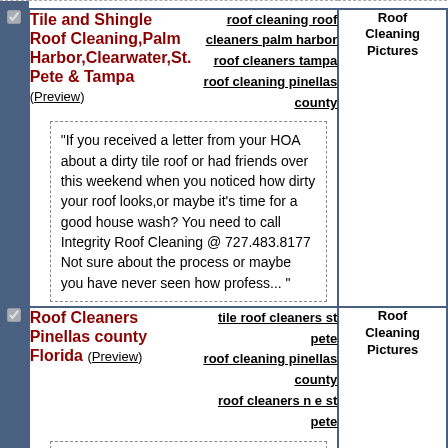Tile and Shingle Roof Cleaning,Palm Harbor,Clearwater,St. Pete & Tampa (Preview)
roof cleaning roof cleaners palm harbor
roof cleaners tampa
roof cleaning pinellas county
Roof Cleaning Pictures
“If you received a letter from your HOA about a dirty tile roof or had friends over this weekend when you noticed how dirty your roof looks,or maybe it’s time for a good house wash? You need to call Integrity Roof Cleaning @ 727.483.8177 Not sure about the process or maybe you have never seen how profess... ”
Roof Cleaners Pinellas county Florida (Preview)
tile roof cleaners st pete
roof cleaning pinellas county
roof cleaners n e st pete
Roof Cleaning Pictures
“Well you guys know I love video. Todays roof was awesome! Right on a canal and a great day for roof cleaning